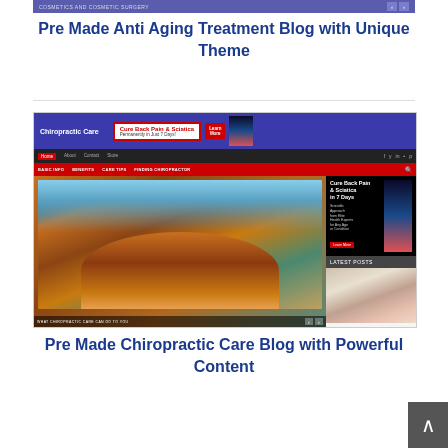[Figure (screenshot): Screenshot of a cosmetics and cosmetic surgery blog with navigation banner]
Pre Made Anti Aging Treatment Blog with Unique Theme
[Figure (screenshot): Screenshot of a Chiropractic Care blog with header, navigation, featured image of a woman, sidebar with back pain ad and latest posts]
Pre Made Chiropractic Care Blog with Powerful Content